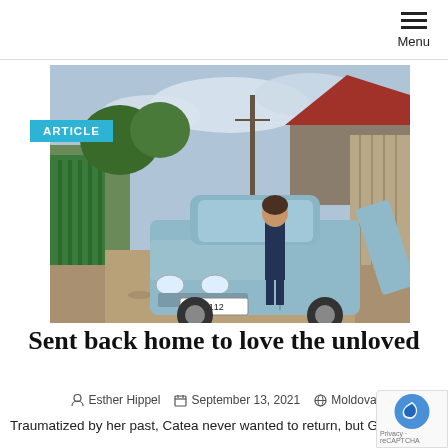Menu
[Figure (photo): A woman standing beside an old light-blue Soviet-era car (Zhiguli/Lada) on a narrow dirt road between green metal fences and houses, with trees and a cloudy sky in the background. License plate reads 51 AY 112.]
Sent back home to love the unloved
Esther Hippel   September 13, 2021   Moldova
Traumatized by her past, Catea never wanted to return, but God sent her back to her home village, where she now shares God's love with neglected elderly.